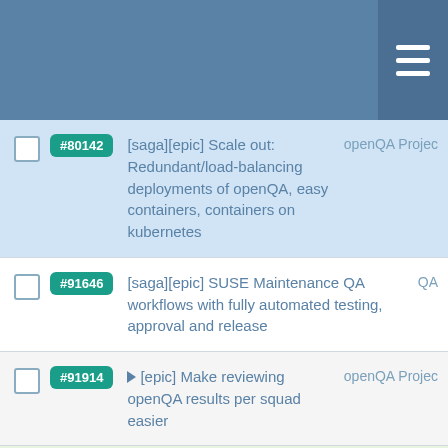[Figure (screenshot): Navigation header bar with hamburger menu icon on a steel blue background]
#80142 [saga][epic] Scale out: Redundant/load-balancing deployments of openQA, easy containers, containers on kubernetes — openQA Project
#91646 [saga][epic] SUSE Maintenance QA workflows with fully automated testing, approval and release — QA
#91914 [epic] Make reviewing openQA results per squad easier — openQA Project
#92854 [epic] limit overload of openQA webUI by heavy requests — openQA Project
#94185 [epic] Use feedback from... — QA